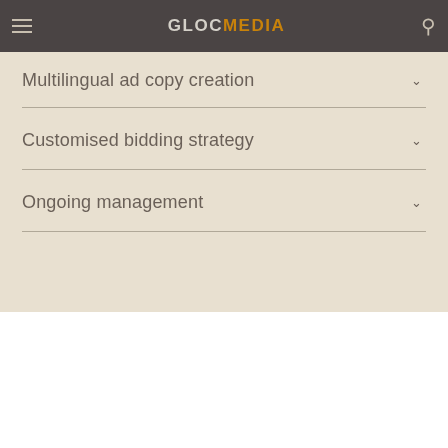GLOCMEDIA
Multilingual ad copy creation
Customised bidding strategy
Ongoing management